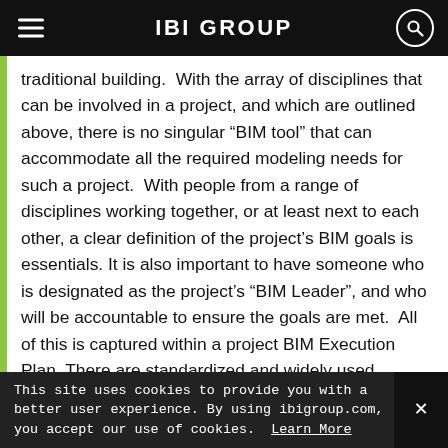IBI GROUP
traditional building.  With the array of disciplines that can be involved in a project, and which are outlined above, there is no singular “BIM tool” that can accommodate all the required modeling needs for such a project.  With people from a range of disciplines working together, or at least next to each other, a clear definition of the project’s BIM goals is essentials. It is also important to have someone who is designated as the project’s “BIM Leader”, and who will be accountable to ensure the goals are met.  All of this is captured within a project BIM Execution Plan. There are standardized and widely used templates available in the United Kingdom and North America
This site uses cookies to provide you with a better user experience. By using ibigroup.com, you accept our use of cookies.  Learn More